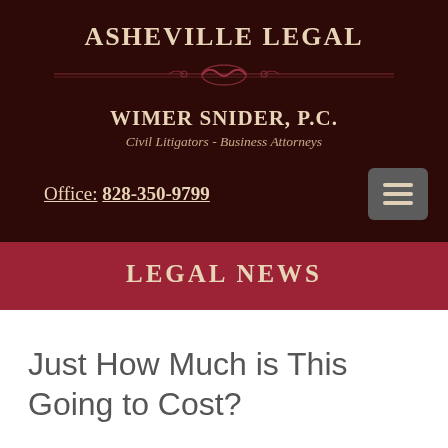ASHEVILLE LEGAL
[Figure (illustration): Decorative divider line with ornamental scroll design in dark red on dark brown background]
WIMER SNIDER, P.C.
Civil Litigators - Business Attorneys
Office: 828-350-9799
LEGAL NEWS
Just How Much is This Going to Cost?